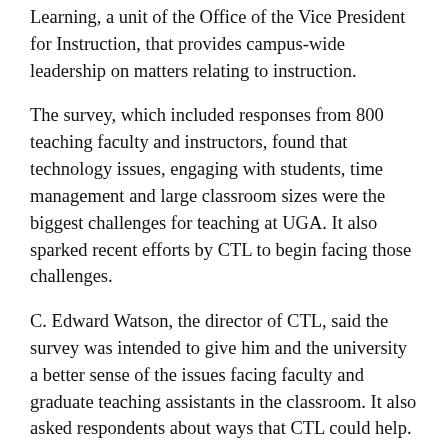Learning, a unit of the Office of the Vice President for Instruction, that provides campus-wide leadership on matters relating to instruction.
The survey, which included responses from 800 teaching faculty and instructors, found that technology issues, engaging with students, time management and large classroom sizes were the biggest challenges for teaching at UGA. It also sparked recent efforts by CTL to begin facing those challenges.
C. Edward Watson, the director of CTL, said the survey was intended to give him and the university a better sense of the issues facing faculty and graduate teaching assistants in the classroom. It also asked respondents about ways that CTL could help.
Watson took over the role as director of the center last summer, succeeding Nelson Hilton, who returned to teaching in the English department and also now serves as chairman of the executive committee of the University